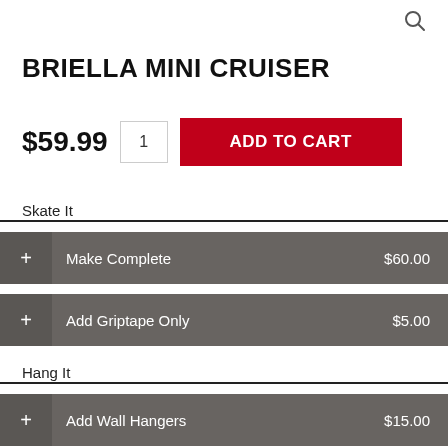[Figure (other): Search icon (magnifying glass) in top right corner]
BRIELLA MINI CRUISER
$59.99  1  ADD TO CART
Skate It
+ Make Complete  $60.00
+ Add Griptape Only  $5.00
Hang It
+ Add Wall Hangers  $15.00